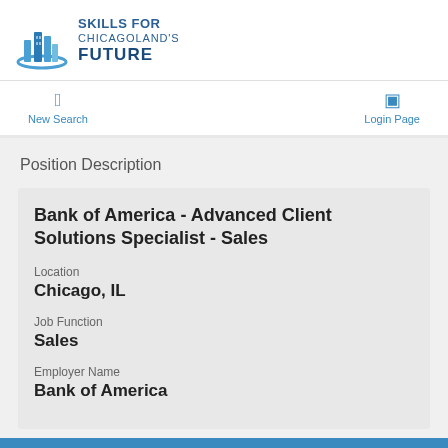[Figure (logo): Skills for Chicagoland's Future logo with blue building/skyscraper icon and text]
New Search
Login Page
Position Description
Bank of America - Advanced Client Solutions Specialist - Sales
Location
Chicago, IL
Job Function
Sales
Employer Name
Bank of America